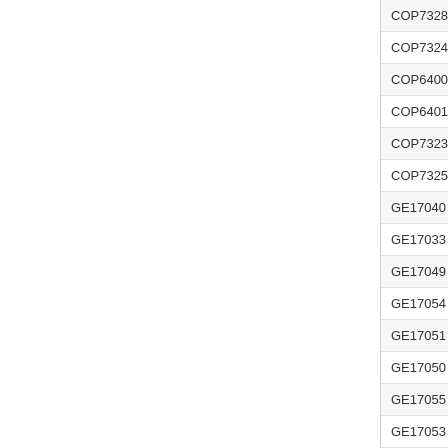| Code | Name |
| --- | --- |
| COP73282 | Tiger & Bunny Dragon K... |
| COP73244 | Tiger & Bunny Blue Ros... |
| COP64006 | Tiger & Bunny Wild Tige... |
| COP64013 | Tiger & Bunny Barnaby... |
| COP73237 | Tiger & Bunny Fire Emb... |
| COP73251 | Tiger & Bunny Rock Bis... |
| GE17040 | Tiger & Bunny Apollon I... |
| GE17033 | Tiger & Bunny Bunny M... |
| GE17049 | Tiger & Bunny Kotetsu I... |
| GE17054 | Tiger & Bunny Ivan Met... |
| GE17051 | Tiger & Bunny Wild Tige... |
| GE17050 | Tiger & Bunny Barnaby... |
| GE17055 | Tiger & Bunny Karina M... |
| GE17053 | Tiger & Bunny Keith Me... |
| GE17087 | Tiger & Bunny Antonio ... |
| [green bar] |  |
| GE43011 | Tiger & Bunny Tiger, Bu... |
| GE43027 | Tiger & Bunny Hero's G... |
| GE43001 | Tiger & Bunny Group N... |